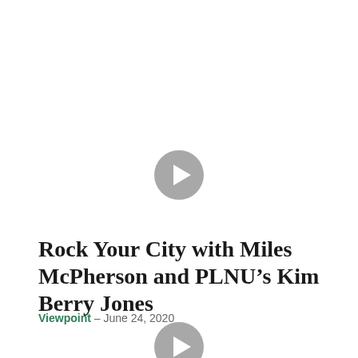[Figure (other): Video play button (circular grey button with white play triangle) positioned in upper center of page]
Rock Your City with Miles McPherson and PLNU’s Kim Berry Jones
Viewpoint – June 24, 2020
[Figure (other): Video play button (circular grey button with white play triangle) positioned in lower center of page]